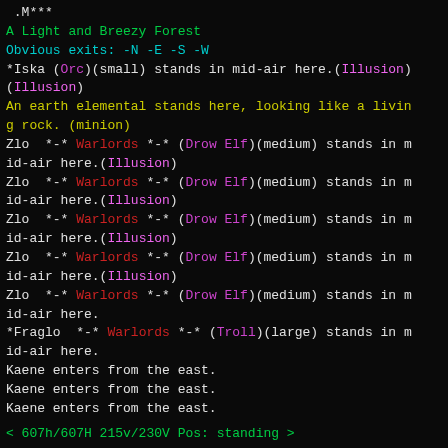.M***
A Light and Breezy Forest
Obvious exits: -N -E -S -W
*Iska (Orc)(small) stands in mid-air here.(Illusion)(Illusion)
An earth elemental stands here, looking like a living rock. (minion)
Zlo  *-* Warlords *-* (Drow Elf)(medium) stands in mid-air here.(Illusion)
Zlo  *-* Warlords *-* (Drow Elf)(medium) stands in mid-air here.(Illusion)
Zlo  *-* Warlords *-* (Drow Elf)(medium) stands in mid-air here.(Illusion)
Zlo  *-* Warlords *-* (Drow Elf)(medium) stands in mid-air here.(Illusion)
Zlo  *-* Warlords *-* (Drow Elf)(medium) stands in mid-air here.
*Fraglo  *-* Warlords *-* (Troll)(large) stands in mid-air here.
Kaene enters from the east.
Kaene enters from the east.
Kaene enters from the east.
< 607h/607H 215v/230V Pos: standing >